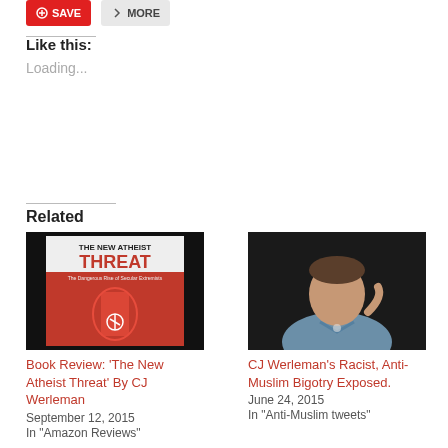[Figure (other): Save button (red) and More button (grey) at top]
Like this:
Loading...
Related
[Figure (photo): Book cover: THE NEW ATHEIST THREAT - The Dangerous Rise of Secular Extremists, with red hand and anarchy symbol]
Book Review: ‘The New Atheist Threat’ By CJ Werleman
September 12, 2015
In "Amazon Reviews"
[Figure (photo): Photo of a man (CJ Werleman) speaking at an event, wearing a light blue shirt]
CJ Werleman’s Racist, Anti-Muslim Bigotry Exposed.
June 24, 2015
In "Anti-Muslim tweets"